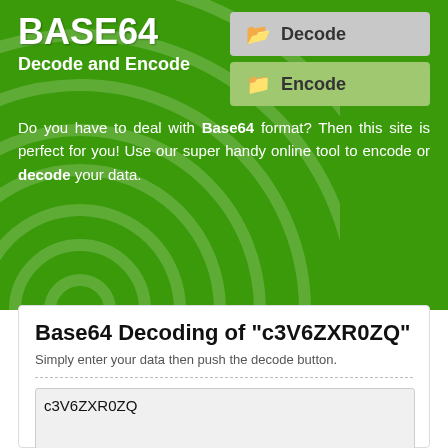BASE64
Decode and Encode
Do you have to deal with Base64 format? Then this site is perfect for you! Use our super handy online tool to encode or decode your data.
Base64 Decoding of "c3V6ZXR0ZQ"
Simply enter your data then push the decode button.
c3V6ZXR0ZQ